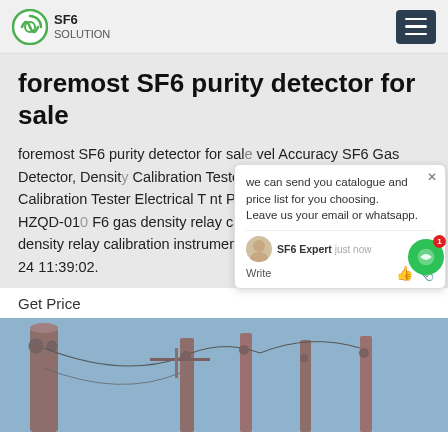SF6 SOLUTION
foremost SF6 purity detector for sale
foremost SF6 purity detector for sale vel Accuracy SF6 Gas Detector, Density Calibration TesterContact Now. SF6 Relay Calibration Tester Electrical T nt Product Description: The HZQD-01 F6 gas density relay calibrator is an intelligent SF6 density relay calibration instrument. The Read More. 2018-07-24 11:39:02.
Get Price
[Figure (photo): Industrial electrical substation with metal towers and equipment against a blue sky]